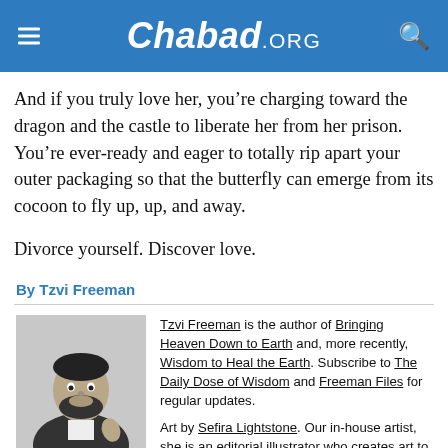Chabad.ORG
And if you truly love her, you’re charging toward the dragon and the castle to liberate her from her prison. You’re ever-ready and eager to totally rip apart your outer packaging so that the butterfly can emerge from its cocoon to fly up, up, and away.
Divorce yourself. Discover love.
By Tzvi Freeman
Tzvi Freeman is the author of Bringing Heaven Down to Earth and, more recently, Wisdom to Heal the Earth. Subscribe to The Daily Dose of Wisdom and Freeman Files for regular updates.
Art by Sefira Lightstone. Our in-house artist, she is an editorial illustrator who creates art to empower the